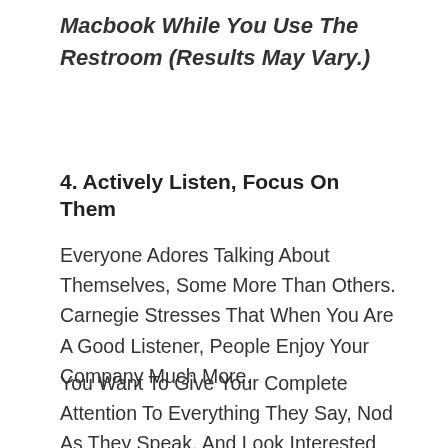Macbook While You Use The Restroom (Results May Vary.)
4. Actively Listen, Focus On Them
Everyone Adores Talking About Themselves, Some More Than Others. Carnegie Stresses That When You Are A Good Listener, People Enjoy Your Company Much More.
You Want To Give Your Complete Attention To Everything They Say, Nod As They Speak, And Look Interested Like I Mentioned Before. You